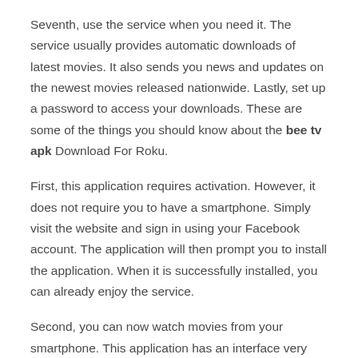Seventh, use the service when you need it. The service usually provides automatic downloads of latest movies. It also sends you news and updates on the newest movies released nationwide. Lastly, set up a password to access your downloads. These are some of the things you should know about the bee tv apk Download For Roku.
First, this application requires activation. However, it does not require you to have a smartphone. Simply visit the website and sign in using your Facebook account. The application will then prompt you to install the application. When it is successfully installed, you can already enjoy the service.
Second, you can now watch movies from your smartphone. This application has an interface very similar to the mobile interface. In this application, you will not experience any delays or pops. Plus, you can easily control what you are watching. For example, you can pause, fast forward, and switch to another channel.